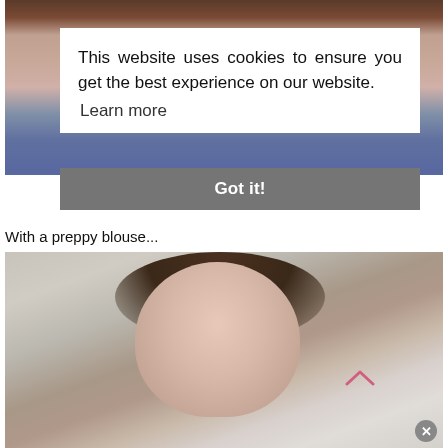[Figure (photo): Partial photo of a person with arms raised, wearing a dark top and pink shirt, with blue jeans visible at the bottom. Cookie consent overlay on top.]
This website uses cookies to ensure you get the best experience on our website. Learn more
Got it!
With a preppy blouse...
[Figure (photo): Photo of a young woman with brown hair, smiling, wearing a light-colored blouse and a gold necklace, against a gray-beige wall background.]